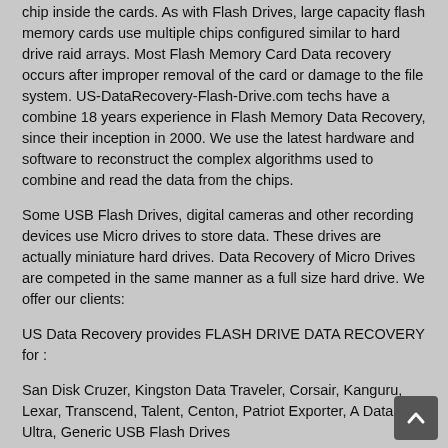chip inside the cards. As with Flash Drives, large capacity flash memory cards use multiple chips configured similar to hard drive raid arrays. Most Flash Memory Card Data recovery occurs after improper removal of the card or damage to the file system. US-DataRecovery-Flash-Drive.com techs have a combine 18 years experience in Flash Memory Data Recovery, since their inception in 2000. We use the latest hardware and software to reconstruct the complex algorithms used to combine and read the data from the chips.
Some USB Flash Drives, digital cameras and other recording devices use Micro drives to store data. These drives are actually miniature hard drives. Data Recovery of Micro Drives are competed in the same manner as a full size hard drive. We offer our clients:
US Data Recovery provides FLASH DRIVE DATA RECOVERY for :
San Disk Cruzer, Kingston Data Traveler, Corsair, Kanguru, Lexar, Transcend, Talent, Centon, Patriot Exporter, A Data, Ultra, Generic USB Flash Drives
FLASH MEMORY CARD DATA RECOVERY for:
CompactFlash Type I (CF-I), CompactFlash Type II (CF-II), Extreme CompactFlash, Extreme III CompactFlash, Ultra II CompactFlash, High Speed CompactFlash, XS- Xtreme Speed CompactFlash, CompactFlash Elite Pro, IBM MicroDrive, Hitachi MicroDrive, MagicStor, Compact Flash PRO, CF PRO II, C-Flash, SmartMedia Card (SMC), TransFlash Memory, Memory Stick (MS), Memory